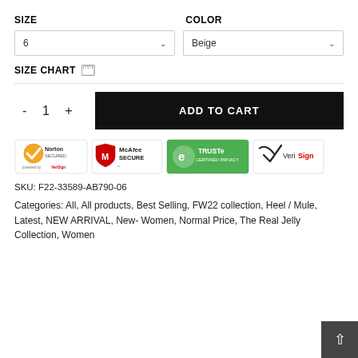SIZE
COLOR
6
Beige
SIZE CHART
- 1 + ADD TO CART
[Figure (logo): Security trust badges: Norton SECURED powered by VeriSign, McAfee SECURE, TRUSTe CERTIFIED PRIVACY, VeriSign]
SKU: F22-33589-AB790-06
Categories: All, All products, Best Selling, FW22 collection, Heel / Mule, Latest, NEW ARRIVAL, New- Women, Normal Price, The Real Jelly Collection, Women